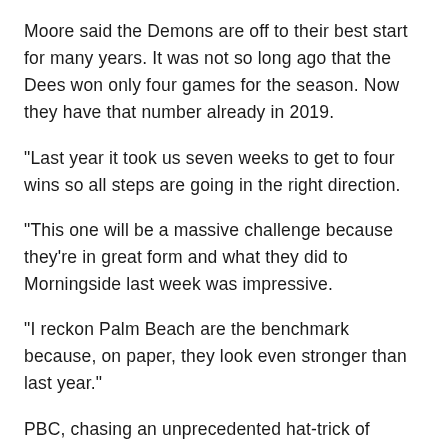Moore said the Demons are off to their best start for many years. It was not so long ago that the Dees won only four games for the season. Now they have that number already in 2019.
"Last year it took us seven weeks to get to four wins so all steps are going in the right direction.
"This one will be a massive challenge because they're in great form and what they did to Morningside last week was impressive.
"I reckon Palm Beach are the benchmark because, on paper, they look even stronger than last year."
PBC, chasing an unprecedented hat-trick of premiership flags, have three changes to their side, welcoming back premiership pair Jackson Emblem and Adam McKenzie at the back and promoting Suns academy member Ashton Crossley, who tasted seniors football with the